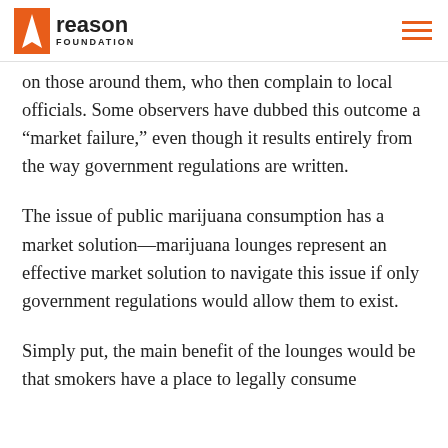Reason Foundation
on those around them, who then complain to local officials. Some observers have dubbed this outcome a “market failure,” even though it results entirely from the way government regulations are written.
The issue of public marijuana consumption has a market solution—marijuana lounges represent an effective market solution to navigate this issue if only government regulations would allow them to exist.
Simply put, the main benefit of the lounges would be that smokers have a place to legally consume